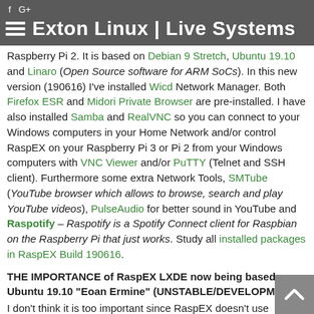f G+  Exton Linux | Live Systems
Raspberry Pi 2. It is based on Debian 9 Stretch, Ubuntu 19.10 and Linaro (Open Source software for ARM SoCs). In this new version (190616) I've installed Wicd Network Manager. Both Firefox ESR and Midori Private Browser are pre-installed. I have also installed Samba and RealVNC so you can connect to your Windows computers in your Home Network and/or control RaspEX on your Raspberry Pi 3 or Pi 2 from your Windows computers with VNC Viewer and/or PuTTY (Telnet and SSH client). Furthermore some extra Network Tools, SMTube (YouTube browser which allows to browse, search and play YouTube videos), PulseAudio for better sound in YouTube and Raspotify – Raspotify is a Spotify Connect client for Raspbian on the Raspberry Pi that just works. Study all installed packages in RaspEX Build 190616.
THE IMPORTANCE of RaspEX LXDE now being based on Ubuntu 19.10 "Eoan Ermine" (UNSTABLE/DEVELOPMENT)
I don't think it is too important since RaspEX doesn't use complicated Desktop Environments like KDE, Gnome or Unity. Programs won't crash or anything like that. And I haven't discovered any bugs to report. Just upgrade your RaspEX installation regularly and you won't have any problems. I think.
Compatibility :: June 2019
Unfortunately not all systems made for Raspberry Pi 3 and 2 will run on the new Raspberry Pi 3 Model B+ computer. They need to